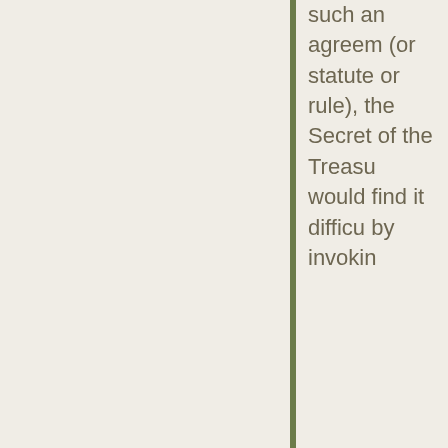such an agreement (or statute or rule), the Secretary of the Treasury would find it difficult by invoking